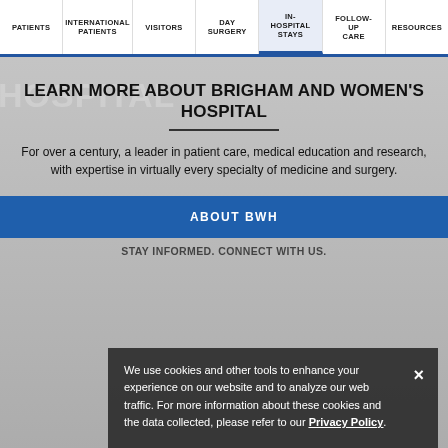PATIENTS | INTERNATIONAL PATIENTS | VISITORS | DAY SURGERY | IN-HOSPITAL STAYS | FOLLOW-UP CARE | RESOURCES
LEARN MORE ABOUT BRIGHAM AND WOMEN'S HOSPITAL
For over a century, a leader in patient care, medical education and research, with expertise in virtually every specialty of medicine and surgery.
ABOUT BWH
STAY INFORMED. CONNECT WITH US.
We use cookies and other tools to enhance your experience on our website and to analyze our web traffic. For more information about these cookies and the data collected, please refer to our Privacy Policy.